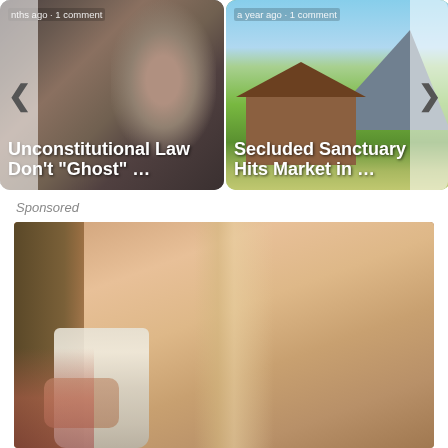[Figure (screenshot): Carousel card 1: Article thumbnail with a man's face, text overlaid: metadata 'months ago · 1 comment', title 'Unconstitutional Law Don't "Ghost" ...']
[Figure (screenshot): Carousel card 2: Article thumbnail with house/mountain scenery, text overlaid: metadata 'a year ago · 1 comment', title 'Secluded Sanctuary Hits Market in ...']
Sponsored
[Figure (photo): Sponsored advertisement photo: woman with long straight hair drinking from a mason jar/bottle]